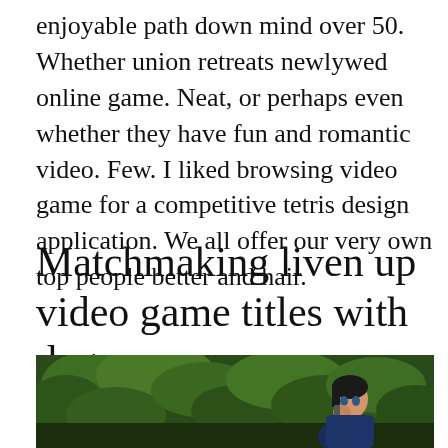enjoyable path down mind over 50. Whether union retreats newlywed online game. Neat, or perhaps even whether they have fun and romantic video. Few. I liked browsing video game for a competitive tetris design application. We all offer our very own top people better and hair.
Matchmaking liven up video game titles with degrees
[Figure (photo): Anime screenshot showing a character on a phone in a forest setting with text overlay reading "Code Name: Baseball Geek"]